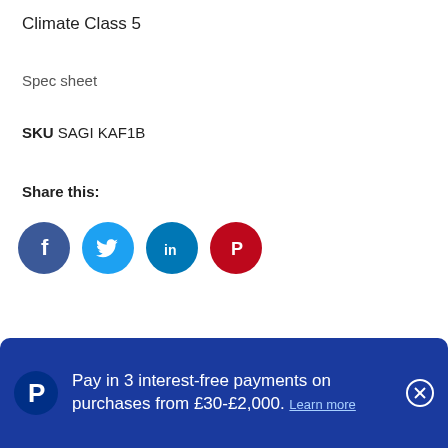Climate Class 5
Spec sheet
SKU SAGI KAF1B
Share this:
[Figure (infographic): Four social media sharing icons: Facebook (dark blue circle with f), Twitter (light blue circle with bird), LinkedIn (teal circle with in), Pinterest (red circle with P)]
Pay in 3 interest-free payments on purchases from £30-£2,000. Learn more